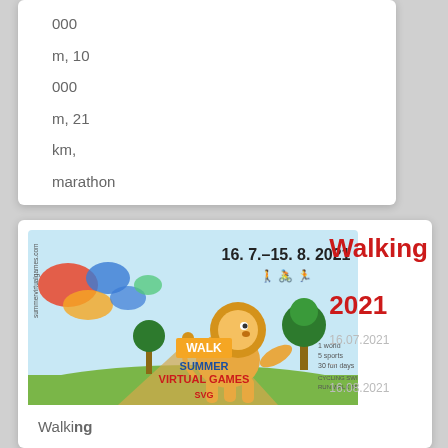000
m, 10
000
m, 21
km,
marathon
[Figure (illustration): Summer Virtual Games Walk 2021 banner with a cartoon lion walking, world map background, date 16.7.–15.8. 2021, sports icons]
Walking
2021
16.07.2021
–
16.08.2021
Walking
competition
20